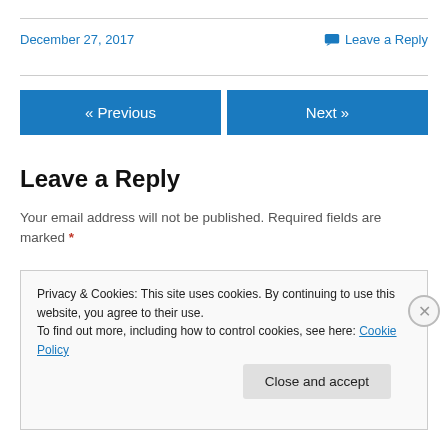December 27, 2017
Leave a Reply
Leave a Reply
Your email address will not be published. Required fields are marked *
Privacy & Cookies: This site uses cookies. By continuing to use this website, you agree to their use. To find out more, including how to control cookies, see here: Cookie Policy
Close and accept